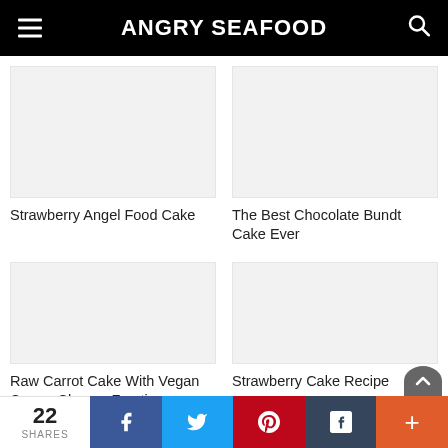ANGRY SEAFOOD
Strawberry Angel Food Cake
The Best Chocolate Bundt Cake Ever
Raw Carrot Cake With Vegan Cream Cheese Frosting
Strawberry Cake Recipe
22 SHARES